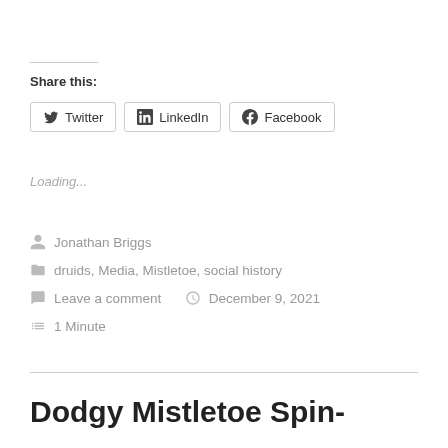Share this:
Twitter  LinkedIn  Facebook
Loading...
Jonathan Briggs
druids, Media, Mistletoe, social history
Leave a comment   December 9, 2021
1 Minute
Dodgy Mistletoe Spin-